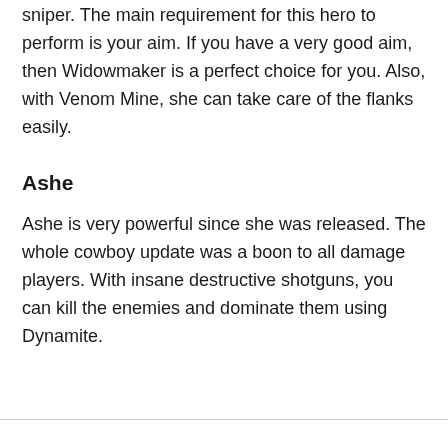sniper. The main requirement for this hero to perform is your aim. If you have a very good aim, then Widowmaker is a perfect choice for you. Also, with Venom Mine, she can take care of the flanks easily.
Ashe
Ashe is very powerful since she was released. The whole cowboy update was a boon to all damage players. With insane destructive shotguns, you can kill the enemies and dominate them using Dynamite.